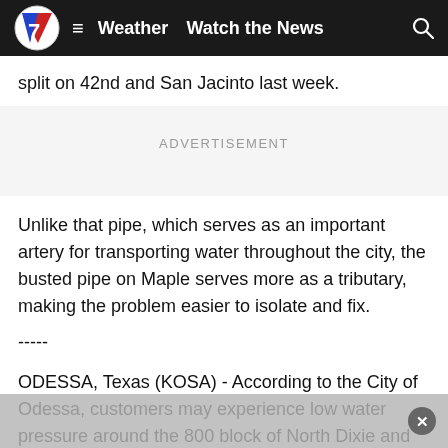Weather  Watch the News
split on 42nd and San Jacinto last week.
ADVERTISEMENT
Unlike that pipe, which serves as an important artery for transporting water throughout the city, the busted pipe on Maple serves more as a tributary, making the problem easier to isolate and fix.
-----
ODESSA, Texas (KOSA) - According to the City of Odessa, customers may experience low water pressure around the 800 block of North Dixie and 800 block of